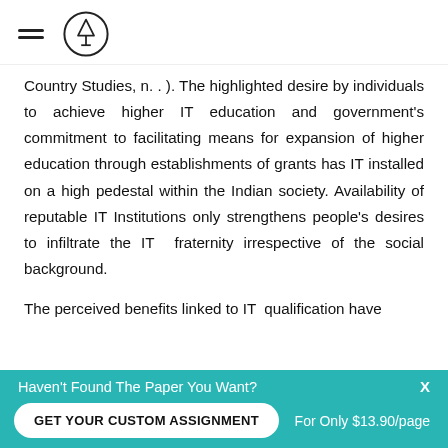Country Studies, n. . ). The highlighted desire by individuals to achieve higher IT education and government's commitment to facilitating means for expansion of higher education through establishments of grants has IT installed on a high pedestal within the Indian society. Availability of reputable IT Institutions only strengthens people's desires to infiltrate the IT fraternity irrespective of the social background.
The perceived benefits linked to IT qualification have
Haven't Found The Paper You Want?
GET YOUR CUSTOM ASSIGNMENT
For Only $13.90/page